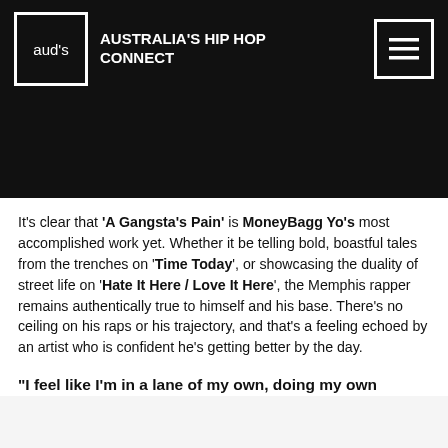aud's  AUSTRALIA'S HIP HOP CONNECT
[Figure (photo): Dark/black hero image area below the navigation header]
It’s clear that ‘A Gangsta’s Pain’ is MoneyBagg Yo’s most accomplished work yet. Whether it be telling bold, boastful tales from the trenches on ‘Time Today’, or showcasing the duality of street life on ‘Hate It Here / Love It Here’, the Memphis rapper remains authentically true to himself and his base. There’s no ceiling on his raps or his trajectory, and that’s a feeling echoed by an artist who is confident he’s getting better by the day.
“I feel like I’m in a lane of my own, doing my own